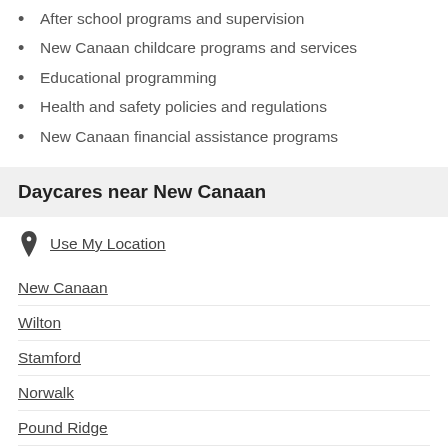After school programs and supervision
New Canaan childcare programs and services
Educational programming
Health and safety policies and regulations
New Canaan financial assistance programs
Daycares near New Canaan
Use My Location
New Canaan
Wilton
Stamford
Norwalk
Pound Ridge
Darien
Weston